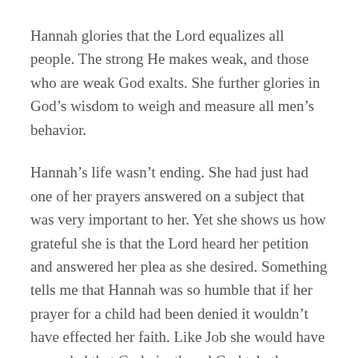Hannah glories that the Lord equalizes all people. The strong He makes weak, and those who are weak God exalts. She further glories in God’s wisdom to weigh and measure all men’s behavior.
Hannah’s life wasn’t ending. She had just had one of her prayers answered on a subject that was very important to her. Yet she shows us how grateful she is that the Lord heard her petition and answered her plea as she desired. Something tells me that Hannah was so humble that if her prayer for a child had been denied it wouldn’t have effected her faith. Like Job she would have conceded that God giveth and God taketh away. Glory be to God.
We don’t usually sing songs or compose hymns